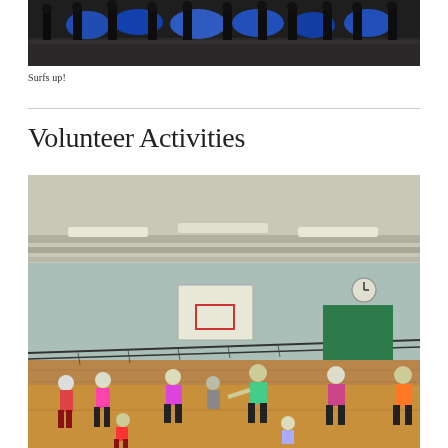[Figure (photo): People standing in a row indoors, holding large blue surfboard-shaped objects on a reflective dark floor.]
Surfs up!
Volunteer Activities
[Figure (photo): Children and adults doing physical activities in a gymnasium with wooden floors, light blue walls, a basketball hoop, and a net. People are dancing or exercising in colorful clothing.]